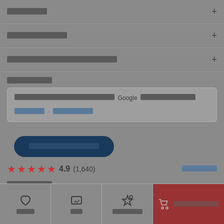[redacted accordion row 1]
[redacted accordion row 2]
[redacted accordion row 3]
[redacted section label]
[redacted info box text with Google mention]
[redacted link text]
[redacted CTA button]
4.9   (1,640)
[redacted reviews label]
[redacted bottom actions]